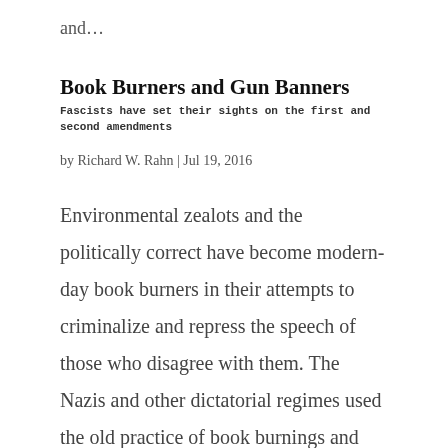and…
Book Burners and Gun Banners
Fascists have set their sights on the first and second amendments
by Richard W. Rahn | Jul 19, 2016
Environmental zealots and the politically correct have become modern-day book burners in their attempts to criminalize and repress the speech of those who disagree with them. The Nazis and other dictatorial regimes used the old practice of book burnings and gun…